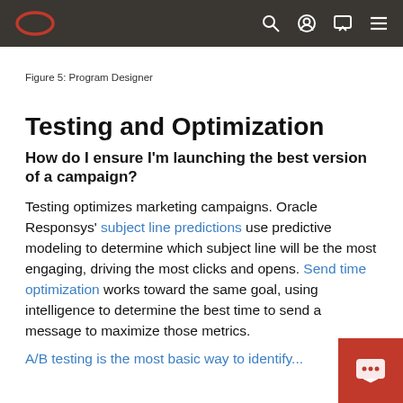Oracle logo navigation bar with search, account, chat, and menu icons
Figure 5: Program Designer
Testing and Optimization
How do I ensure I'm launching the best version of a campaign?
Testing optimizes marketing campaigns. Oracle Responsys' subject line predictions use predictive modeling to determine which subject line will be the most engaging, driving the most clicks and opens. Send time optimization works toward the same goal, using intelligence to determine the best time to send a m... to maximize those metrics.
A/B testing is the most basic way to identify...